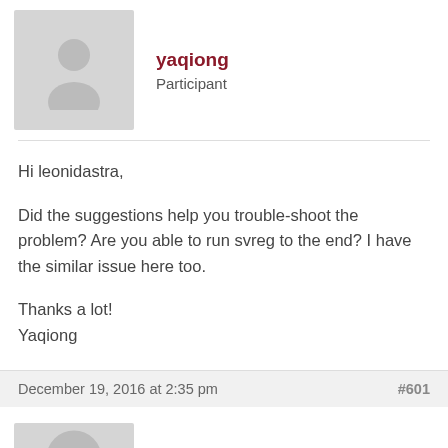[Figure (illustration): Avatar placeholder icon for user yaqiong]
yaqiong
Participant
Hi leonidastra,

Did the suggestions help you trouble-shoot the problem? Are you able to run svreg to the end? I have the similar issue here too.

Thanks a lot!
Yaqiong
December 19, 2016 at 2:35 pm
#601
[Figure (illustration): Avatar placeholder icon for user leonidastra86]
leonidastra86
Participant